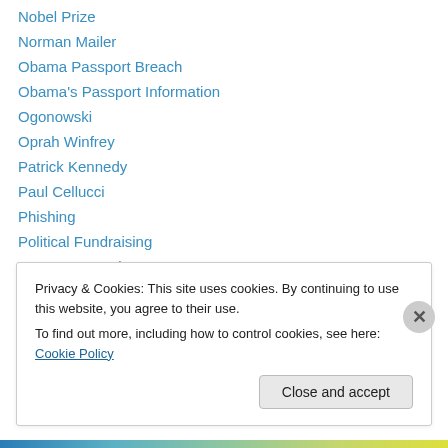Nobel Prize
Norman Mailer
Obama Passport Breach
Obama's Passport Information
Ogonowski
Oprah Winfrey
Patrick Kennedy
Paul Cellucci
Phishing
Political Fundraising
Post War America
Poutine
Quincy
Privacy & Cookies: This site uses cookies. By continuing to use this website, you agree to their use. To find out more, including how to control cookies, see here: Cookie Policy
Close and accept